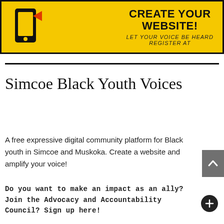[Figure (infographic): Yellow banner with black border showing a phone/device icon on the left and bold text 'CREATE YOUR WEBSITE!' with subtitle 'LET YOUR VOICE BE HEARD REGISTER AT' on the right]
Simcoe Black Youth Voices
A free expressive digital community platform for Black youth in Simcoe and Muskoka. Create a website and amplify your voice!
Do you want to make an impact as an ally? Join the Advocacy and Accountability Council? Sign up here!